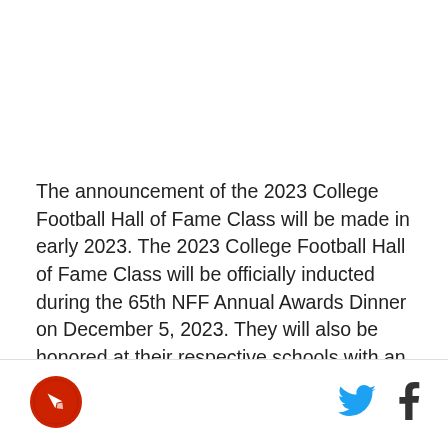The announcement of the 2023 College Football Hall of Fame Class will be made in early 2023. The 2023 College Football Hall of Fame Class will be officially inducted during the 65th NFF Annual Awards Dinner on December 5, 2023. They will also be honored at their respective schools with an NFF Hall of Fame On-Campus Salute during the 2023 season.
[Figure (logo): Red circular logo with white rocket/arrow icon]
[Figure (logo): Twitter bird icon in blue]
[Figure (logo): Facebook 'f' icon in dark color]